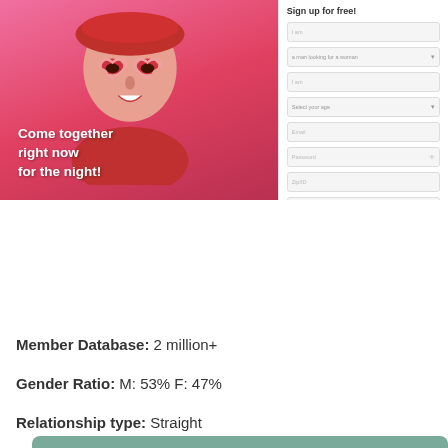[Figure (screenshot): Dating website signup page screenshot showing a woman with heart-shaped sunglasses on a pink background, with tagline 'Come together right now for the night!' and a signup form panel on the right with fields for gender/age/email/password/location and an orange Join Now button.]
Read Review
Visit Site
Member Database: 2 million+
Gender Ratio: M: 53% F: 47%
Relationship type: Straight